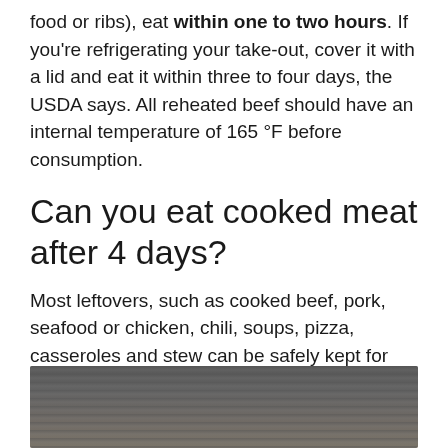food or ribs), eat within one to two hours. If you're refrigerating your take-out, cover it with a lid and eat it within three to four days, the USDA says. All reheated beef should have an internal temperature of 165 °F before consumption.
Can you eat cooked meat after 4 days?
Most leftovers, such as cooked beef, pork, seafood or chicken, chili, soups, pizza, casseroles and stew can be safely kept for three to four days.
[Figure (photo): A person in a kitchen or restaurant setting, with commercial kitchen equipment visible including what appears to be a hood vent above.]